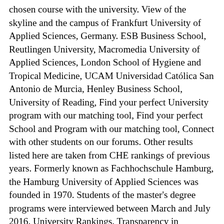chosen course with the university. View of the skyline and the campus of Frankfurt University of Applied Sciences, Germany. ESB Business School, Reutlingen University, Macromedia University of Applied Sciences, London School of Hygiene and Tropical Medicine, UCAM Universidad Católica San Antonio de Murcia, Henley Business School, University of Reading, Find your perfect University program with our matching tool, Find your perfect School and Program with our matching tool, Connect with other students on our forums. Other results listed here are taken from CHE rankings of previous years. Formerly known as Fachhochschule Hamburg, the Hamburg University of Applied Sciences was founded in 1970. Students of the master's degree programs were interviewed between March and July 2016. University Rankings. Transparency in decision-making and open, constructive relationships with one another are as important to us as ensuring that staff members and students are involved and valued. The Munich University of Applied Sciences, (in German: Hochschule für angewandte Wissenschaften München (HM)) was founded in 1971 and is the largest University of Applied Sciences in Bavaria with about 17,800 students.. IUBH University of Applied Sciences - Online Scholarship Initiative: Save up to 80%! Fontys University of Applied Sciences Virtual Open Days 12 - 22 January Register for a webinar . In Business Information Systems, Karlsruhe University of Applied Sciences has been rated among the top 2 universities of applied sciences in the German-speaking countries, in Media and Communication Sciences, at the